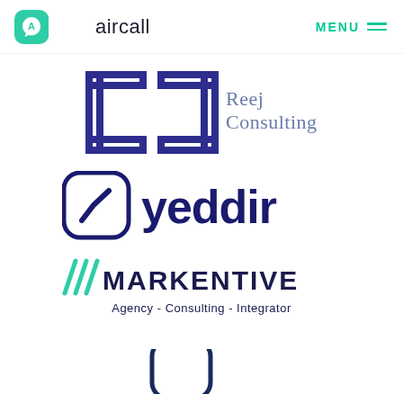aircall  MENU
[Figure (logo): Reej Consulting logo — two bracket-like square shapes in dark blue/indigo, with 'Reej Consulting' text in slate blue]
[Figure (logo): yeddir logo — rounded square icon with a slash/check mark in dark navy blue, followed by bold 'yeddir' text in dark navy]
[Figure (logo): MARKENTIVE logo — three diagonal slash lines in teal/green followed by 'MARKENTIVE' in dark navy, with tagline 'Agency - Consulting - Integrator' in dark navy below]
[Figure (logo): Partial logo at bottom — only top portion visible, dark navy icon]